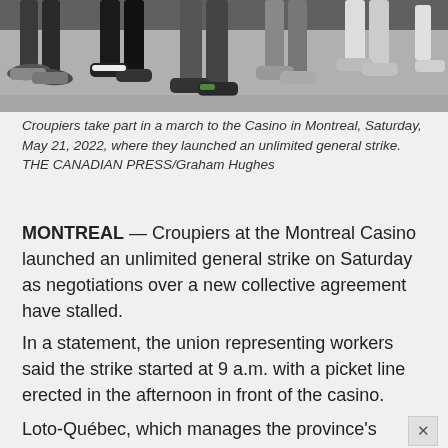[Figure (photo): Photo of people's feet and legs walking on pavement, taken at low angle showing various shoes and sneakers]
Croupiers take part in a march to the Casino in Montreal, Saturday, May 21, 2022, where they launched an unlimited general strike. THE CANADIAN PRESS/Graham Hughes
MONTREAL — Croupiers at the Montreal Casino launched an unlimited general strike on Saturday as negotiations over a new collective agreement have stalled.
In a statement, the union representing workers said the strike started at 9 a.m. with a picket line erected in the afternoon in front of the casino.
Loto-Québec, which manages the province's casinos,